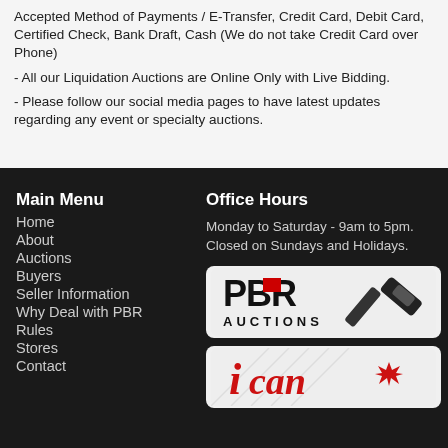Accepted Method of Payments / E-Transfer, Credit Card, Debit Card, Certified Check, Bank Draft, Cash (We do not take Credit Card over Phone)
- All our Liquidation Auctions are Online Only with Live Bidding.
- Please follow our social media pages to have latest updates regarding any event or specialty auctions.
Main Menu
Home
About
Auctions
Buyers
Seller Information
Why Deal with PBR
Rules
Stores
Contact
Office Hours
Monday to Saturday - 9am to 5pm. Closed on Sundays and Holidays.
[Figure (logo): PBR Auctions logo - bold black and red text with gavel icon]
[Figure (logo): iCan logo with red text and Canadian maple leaf]